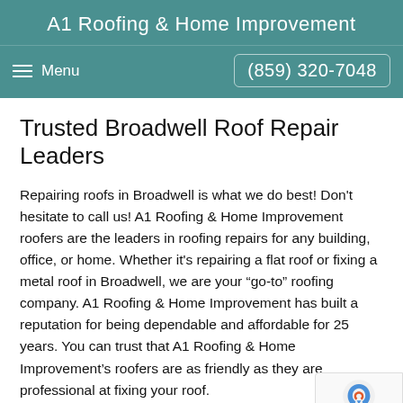A1 Roofing & Home Improvement
Menu | (859) 320-7048
Trusted Broadwell Roof Repair Leaders
Repairing roofs in Broadwell is what we do best! Don't hesitate to call us! A1 Roofing & Home Improvement roofers are the leaders in roofing repairs for any building, office, or home. Whether it's repairing a flat roof or fixing a metal roof in Broadwell, we are your “go-to” roofing company. A1 Roofing & Home Improvement has built a reputation for being dependable and affordable for 25 years. You can trust that A1 Roofing & Home Improvement's roofers are as friendly as they are professional at fixing your roof.
Call us at (859) 320-7048 about your roof repair in Broadwell, Kentucky. Our roofing crew will be happy to